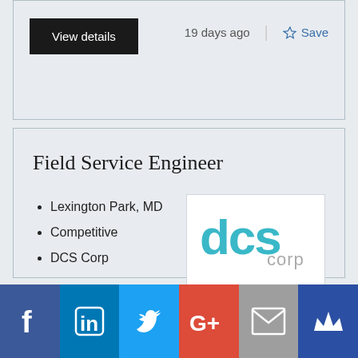View details   19 days ago   Save
Field Service Engineer
Lexington Park, MD
Competitive
DCS Corp
[Figure (logo): DCS Corp logo — stylized teal lowercase 'dcs' with 'corp' in grey]
Field Service Engineer performs engineering…
View details   24 days ago   Save
[Figure (infographic): Social sharing bar with Facebook, LinkedIn, Twitter, Google+, Email, and Crown icons]